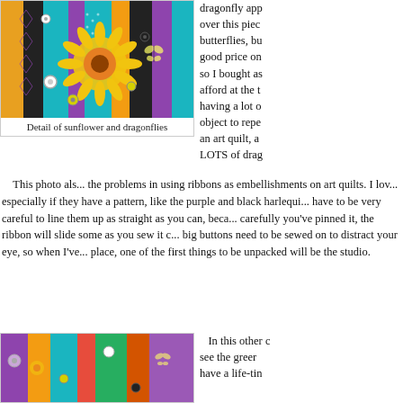[Figure (photo): Detail photo of a colorful art quilt showing sunflower and dragonfly fabric panels with buttons, ribbons, and embellishments in purple, teal, orange, yellow, and black patterns]
Detail of sunflower and dragonflies
dragonfly app... over this piec... butterflies, bu... good price on... so I bought as... afford at the t... having a lot o... object to repe... an art quilt, a... LOTS of drag...
This photo als... the problems in using ribbons as embellishments on art quilts. I lov... especially if they have a pattern, like the purple and black harlequi... have to be very careful to line them up as straight as you can, beca... carefully you've pinned it, the ribbon will slide some as you sew it c... big buttons need to be sewed on to distract your eye, so when I've... place, one of the first things to be unpacked will be the studio.
In this other c... see the greer... have a life-tin...
[Figure (photo): Another detail photo of the colorful art quilt showing more fabric panels with buttons and embellishments in purple, teal, yellow, and black patterns]